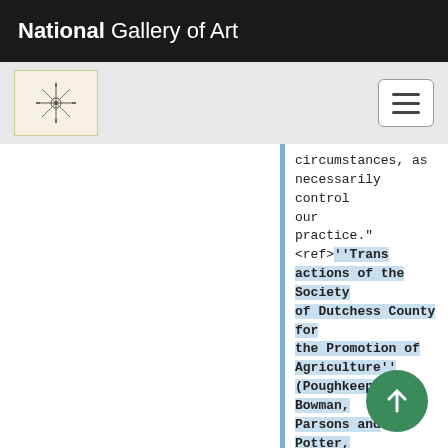National Gallery of Art
[Figure (logo): Small decorative logo/icon with compass-star design on tan background]
circumstances, as necessarily control our practice."<ref>''Transactions of the Society of Dutchess County for the Promotion of Agriculture'' (Poughkeepsie: Bowman, Parsons and Potter, 1807), 1:5, 8&ndash;18, [https://www.zotero.org/groups/54737/itemKey/H3H39DN8 on Zotero] and Sam Bard, "On the Rotation